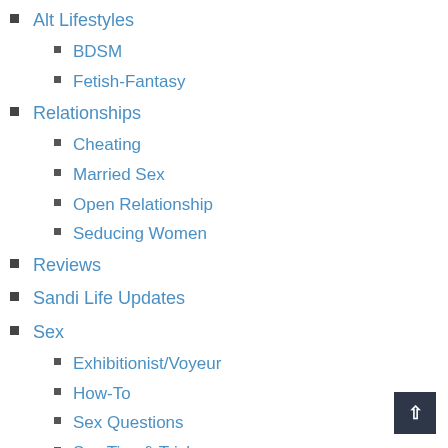Alt Lifestyles
BDSM
Fetish-Fantasy
Relationships
Cheating
Married Sex
Open Relationship
Seducing Women
Reviews
Sandi Life Updates
Sex
Exhibitionist/Voyeur
How-To
Sex Questions
Sex Tips & Tricks
Sex Toys
Sexual Problems